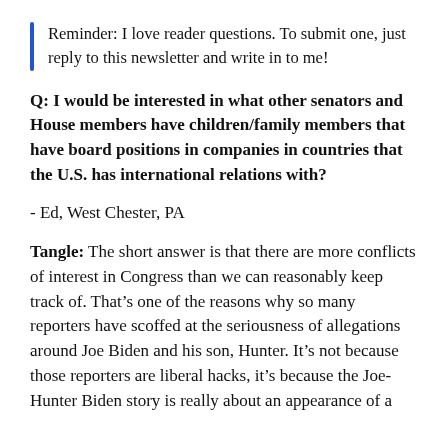Reminder: I love reader questions. To submit one, just reply to this newsletter and write in to me!
Q: I would be interested in what other senators and House members have children/family members that have board positions in companies in countries that the U.S. has international relations with?
- Ed, West Chester, PA
Tangle: The short answer is that there are more conflicts of interest in Congress than we can reasonably keep track of. That’s one of the reasons why so many reporters have scoffed at the seriousness of allegations around Joe Biden and his son, Hunter. It’s not because those reporters are liberal hacks, it’s because the Joe-Hunter Biden story is really about an appearance of a